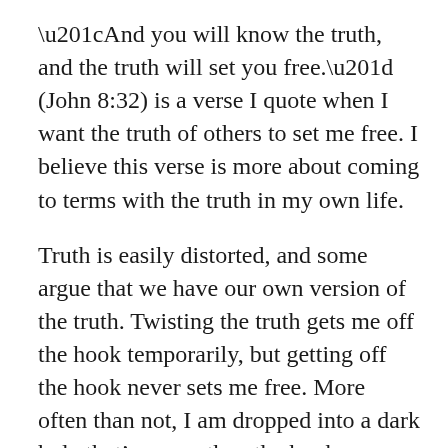“And you will know the truth, and the truth will set you free.” (John 8:32) is a verse I quote when I want the truth of others to set me free. I believe this verse is more about coming to terms with the truth in my own life.
Truth is easily distorted, and some argue that we have our own version of the truth. Twisting the truth gets me off the hook temporarily, but getting off the hook never sets me free. More often than not, I am dropped into a dark hole that’s worse than the hook.
The first step on the journey of finding the truth is admitting I’m wrong. Only I can take that step, so the first step is a lonely one.  It is a